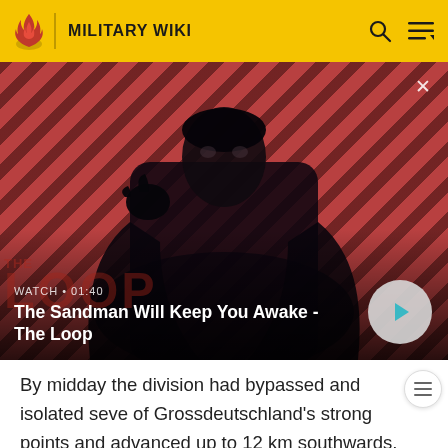MILITARY WIKI
[Figure (screenshot): Video thumbnail showing a dark-clad figure with a raven on their shoulder against a red diagonal stripe background. Text overlay reads 'WATCH · 01:40' and 'The Sandman Will Keep You Awake - The Loop'. A teal play button appears bottom right. A close X button appears top right.]
By midday the division had bypassed and isolated seve of Grossdeutschland's strong points and advanced up to 12 km southwards, capturing several other fortified villages and approaching the outskirts of Târgu Frumos by